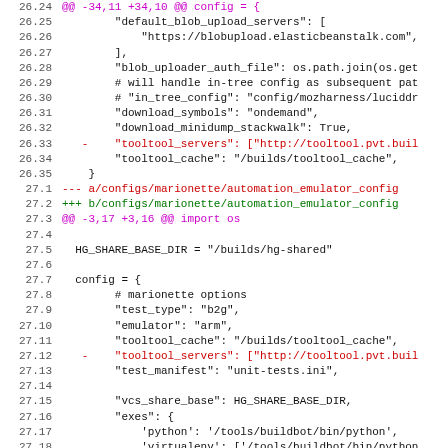[Figure (screenshot): Code diff view showing changes to configuration files. Line numbers on the left, diff content on the right with colored text: magenta for diff headers, red for removed lines, green for added lines, plain for context lines.]